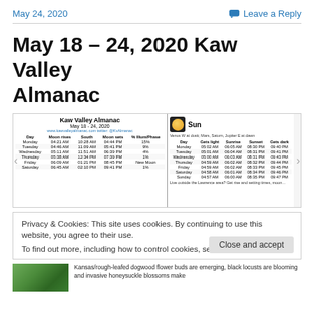May 24, 2020   Leave a Reply
May 18 – 24, 2020 Kaw Valley Almanac
[Figure (table-as-image): Kaw Valley Almanac table for May 18-24, 2020 showing moon rises, south, moon sets, and % illum/phase for each day of the week, alongside a sun table showing gets light, sunrise, sunset, and gets dark times for each day.]
Privacy & Cookies: This site uses cookies. By continuing to use this website, you agree to their use.
To find out more, including how to control cookies, see here: Cookie Policy
[Figure (photo): Green plant leaves close-up photo at bottom left]